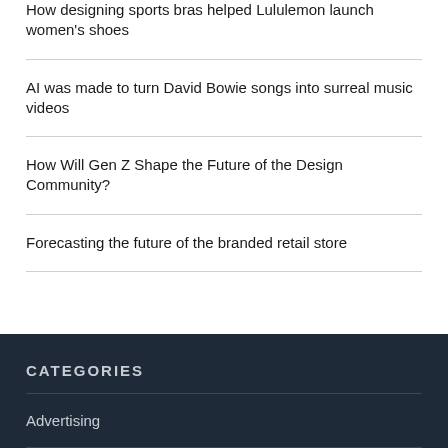How designing sports bras helped Lululemon launch women's shoes
AI was made to turn David Bowie songs into surreal music videos
How Will Gen Z Shape the Future of the Design Community?
Forecasting the future of the branded retail store
CATEGORIES
Advertising